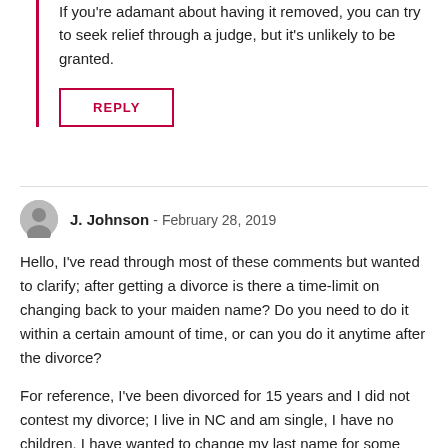If you're adamant about having it removed, you can try to seek relief through a judge, but it's unlikely to be granted.
REPLY
J. Johnson  -  February 28, 2019
Hello, I've read through most of these comments but wanted to clarify; after getting a divorce is there a time-limit on changing back to your maiden name? Do you need to do it within a certain amount of time, or can you do it anytime after the divorce?
For reference, I've been divorced for 15 years and I did not contest my divorce; I live in NC and am single, I have no children. I have wanted to change my last name for some time but really don't care for my maiden name either. However, if I could more easily change back to my maiden name rather than go through the hassle of petitioning the court for a